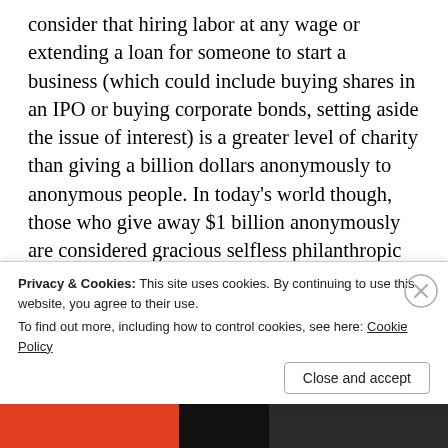consider that hiring labor at any wage or extending a loan for someone to start a business (which could include buying shares in an IPO or buying corporate bonds, setting aside the issue of interest) is a greater level of charity than giving a billion dollars anonymously to anonymous people. In today's world though, those who give away $1 billion anonymously are considered gracious selfless philanthropic saints. A business owner who hires a worker at $10 an hour, which is a higher level than giving $1 billion anonymously to charity, is considered
Privacy & Cookies: This site uses cookies. By continuing to use this website, you agree to their use.
To find out more, including how to control cookies, see here: Cookie Policy
Close and accept